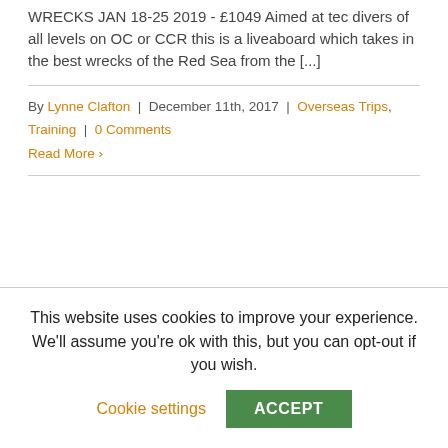WRECKS JAN 18-25 2019 - £1049 Aimed at tec divers of all levels on OC or CCR this is a liveaboard which takes in the best wrecks of the Red Sea from the [...]
By Lynne Clafton | December 11th, 2017 | Overseas Trips, Training | 0 Comments
Read More >
This website uses cookies to improve your experience. We'll assume you're ok with this, but you can opt-out if you wish.
Cookie settings
ACCEPT